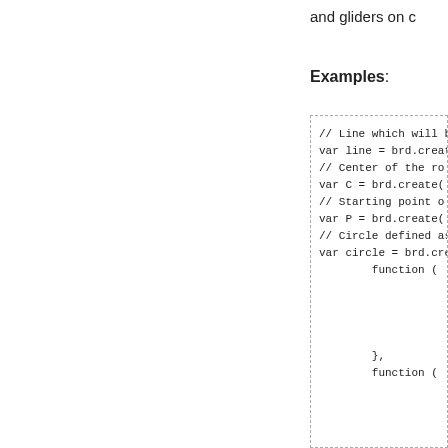and gliders on c
Examples:
// Line which will b
var line = brd.creat
// Center of the ro
var C = brd.create(
// Starting point o
var P = brd.create(
// Circle defined as
var circle = brd.cre
        function (




        },
        function (




        },
        0.2*Math.